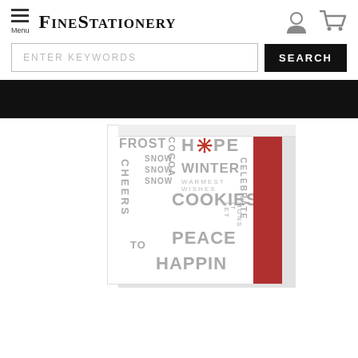FineStationery
ENTER KEYWORDS
SEARCH
[Figure (photo): A holiday greeting card showing winter-themed words: FROST, COCOA, SNOW, HOPE (with snowflake), CHEERS, WINTER, WARMEST WISHES, COOKIES, PEACE, CELEBRATE, LET IT SNOW, HAPPINESS, PEACE — in red and gray typography on white, with a red side panel. The card is shown slightly open with a white envelope behind it.]